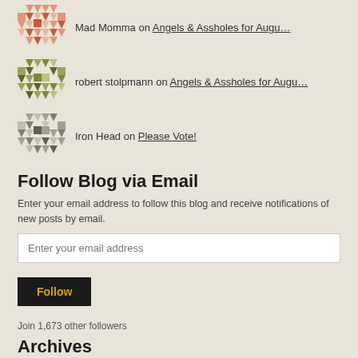Mad Momma on Angels & Assholes for Augu…
robert stolpmann on Angels & Assholes for Augu…
Iron Head on Please Vote!
Follow Blog via Email
Enter your email address to follow this blog and receive notifications of new posts by email.
Follow
Join 1,673 other followers
Archives